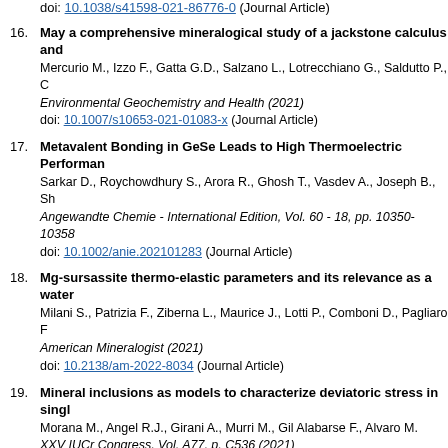doi: 10.1038/s41598-021-86776-0 (Journal Article)
16. May a comprehensive mineralogical study of a jackstone calculus and... Mercurio M., Izzo F., Gatta G.D., Salzano L., Lotrecchiano G., Saldutto P., C... Environmental Geochemistry and Health (2021) doi: 10.1007/s10653-021-01083-x (Journal Article)
17. Metavalent Bonding in GeSe Leads to High Thermoelectric Performan... Sarkar D., Roychowdhury S., Arora R., Ghosh T., Vasdev A., Joseph B., Sh... Angewandte Chemie - International Edition, Vol. 60 - 18, pp. 10350-10358 ... doi: 10.1002/anie.202101283 (Journal Article)
18. Mg-sursassite thermo-elastic parameters and its relevance as a water... Milani S., Patrizia F., Ziberna L., Maurice J., Lotti P., Comboni D., Pagliaro F... American Mineralogist (2021) doi: 10.2138/am-2022-8034 (Journal Article)
19. Mineral inclusions as models to characterize deviatoric stress in singl... Morana M., Angel R.J., Girani A., Murri M., Gil Alabarse F., Alvaro M. XXV IUCr Congress, Vol. A77, p. C536 (2021) doi: 10.1107/S0108767321091534 (Conference Proceedings)
20. Pressure Dependence of Superconducting Properties, Pinning Mecha... Murugesan K., Lingannan G., Ishigaki K., Uwatoko Y., Sekine C., Kawamur... ACS Omega, Vol. 6 - 45, pp. 30419-30431 (2021)